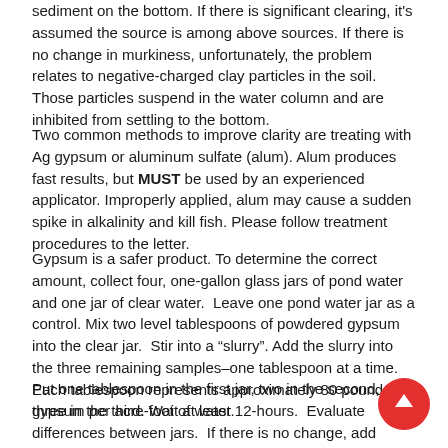sediment on the bottom. If there is significant clearing, it's assumed the source is among above sources. If there is no change in murkiness, unfortunately, the problem relates to negative-charged clay particles in the soil. Those particles suspend in the water column and are inhibited from settling to the bottom.
Two common methods to improve clarity are treating with Ag gypsum or aluminum sulfate (alum). Alum produces fast results, but MUST be used by an experienced applicator. Improperly applied, alum may cause a sudden spike in alkalinity and kill fish. Please follow treatment procedures to the letter.
Gypsum is a safer product. To determine the correct amount, collect four, one-gallon glass jars of pond water and one jar of clear water.  Leave one pond water jar as a control. Mix two level tablespoons of powdered gypsum into the clear jar.  Stir into a “slurry”. Add the slurry into the three remaining samples–one tablespoon at a time. Each tablespoon represents approximately 80 pounds of gypsum per acre-foot of water.
Put one tablespoon in the first jar, two in the second, and three in the third. Wait at least 12-hours.  Evaluate differences between jars.  If there is no change, add another round of the slurry until of the jars clears. Convert number of tablespoons required to achieve clearing into the total pounds of gypsum for treatment.